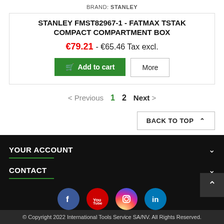BRAND: STANLEY
STANLEY FMST82967-1 - FATMAX TSTAK COMPACT COMPARTMENT BOX
€79.21 - €65.46 Tax excl.
Add to cart  More
< Previous  1  2  Next >
BACK TO TOP ^
YOUR ACCOUNT
CONTACT
[Figure (infographic): Social media icons: Facebook, YouTube, Instagram, LinkedIn]
© Copyright 2022 International Tools Service SA/NV. All Rights Reserved.